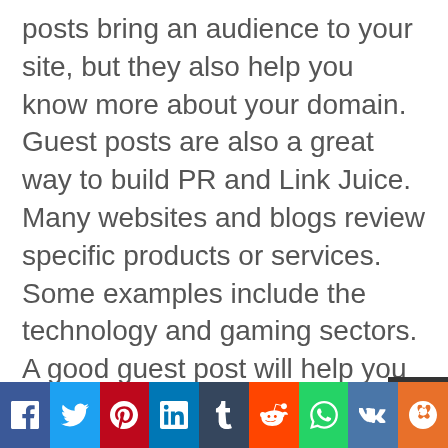posts bring an audience to your site, but they also help you know more about your domain. Guest posts are also a great way to build PR and Link Juice. Many websites and blogs review specific products or services. Some examples include the technology and gaming sectors. A good guest post will help you establish your brand as a source of valuable information.